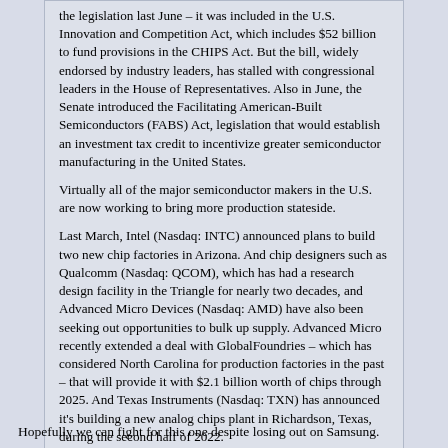the legislation last June – it was included in the U.S. Innovation and Competition Act, which includes $52 billion to fund provisions in the CHIPS Act. But the bill, widely endorsed by industry leaders, has stalled with congressional leaders in the House of Representatives. Also in June, the Senate introduced the Facilitating American-Built Semiconductors (FABS) Act, legislation that would establish an investment tax credit to incentivize greater semiconductor manufacturing in the United States.
Virtually all of the major semiconductor makers in the U.S. are now working to bring more production stateside.
Last March, Intel (Nasdaq: INTC) announced plans to build two new chip factories in Arizona. And chip designers such as Qualcomm (Nasdaq: QCOM), which has had a research design facility in the Triangle for nearly two decades, and Advanced Micro Devices (Nasdaq: AMD) have also been seeking out opportunities to bulk up supply. Advanced Micro recently extended a deal with GlobalFoundries – which has considered North Carolina for production factories in the past – that will provide it with $2.1 billion worth of chips through 2025. And Texas Instruments (Nasdaq: TXN) has announced it's building a new analog chips plant in Richardson, Texas, during the second half of 2022.
Hopefully we can fight for this one despite losing out on Samsung.